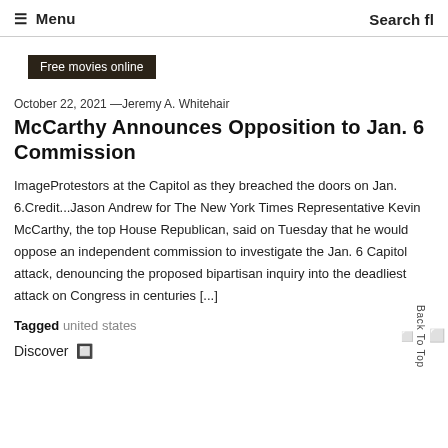☰ Menu    Search fl
Free movies online
October 22, 2021 —Jeremy A. Whitehair
McCarthy Announces Opposition to Jan. 6 Commission
ImageProtestors at the Capitol as they breached the doors on Jan. 6.Credit...Jason Andrew for The New York Times Representative Kevin McCarthy, the top House Republican, said on Tuesday that he would oppose an independent commission to investigate the Jan. 6 Capitol attack, denouncing the proposed bipartisan inquiry into the deadliest attack on Congress in centuries [...]
Tagged united states
Discover 🔲